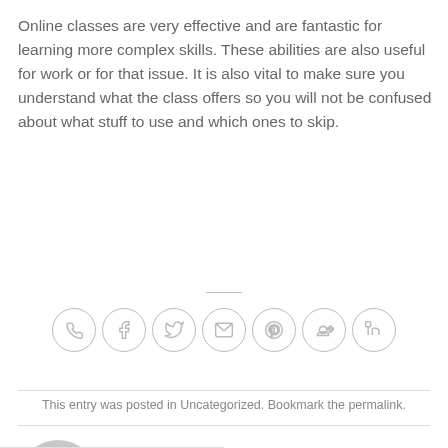Online classes are very effective and are fantastic for learning more complex skills. These abilities are also useful for work or for that issue. It is also vital to make sure you understand what the class offers so you will not be confused about what stuff to use and which ones to skip.
[Figure (infographic): Row of 7 social share/contact icon circles: phone, Facebook, Twitter, email, Pinterest, Google+, LinkedIn]
This entry was posted in Uncategorized. Bookmark the permalink.
JARY MALCOP